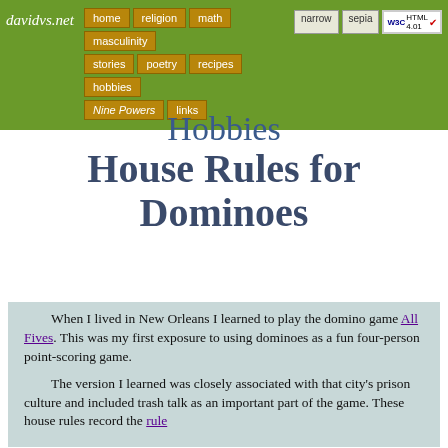davidvs.net | home | religion | math | masculinity | stories | poetry | recipes | hobbies | Nine Powers | links | narrow | sepia | W3C HTML 4.01
Hobbies
House Rules for Dominoes
When I lived in New Orleans I learned to play the domino game All Fives. This was my first exposure to using dominoes as a fun four-person point-scoring game.

The version I learned was closely associated with that city's prison culture and included trash talk as an important part of the game. These house rules record the rule